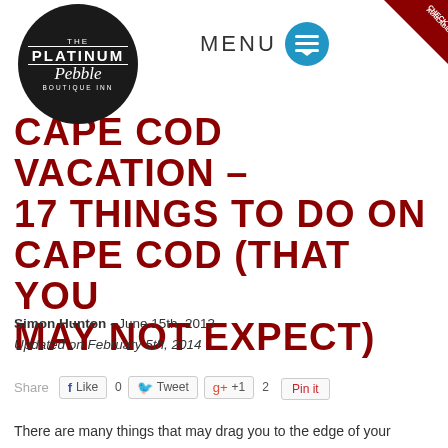[Figure (logo): The Platinum Pebble Boutique Inn circular black logo with white text]
[Figure (other): MENU button with blue hamburger menu circle icon]
[Figure (other): Check Availability red corner badge]
CAPE COD VACATION – 17 THINGS TO DO ON CAPE COD (THAT YOU MAY NOT EXPECT)
Simon Hunton - June 15th, 2013
Updated on February 5th, 2014
Share  Like 0  Tweet  +1 2  Pin it
There are many things that may drag you to the edge of your